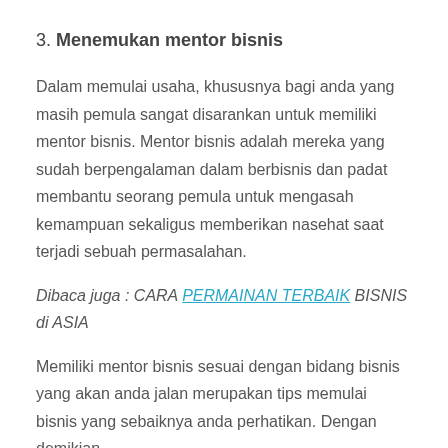3. Menemukan mentor bisnis
Dalam memulai usaha, khususnya bagi anda yang masih pemula sangat disarankan untuk memiliki mentor bisnis. Mentor bisnis adalah mereka yang sudah berpengalaman dalam berbisnis dan padat membantu seorang pemula untuk mengasah kemampuan sekaligus memberikan nasehat saat terjadi sebuah permasalahan.
Dibaca juga : CARA PERMAINAN TERBAIK BISNIS di ASIA
Memiliki mentor bisnis sesuai dengan bidang bisnis yang akan anda jalan merupakan tips memulai bisnis yang sebaiknya anda perhatikan. Dengan demikian